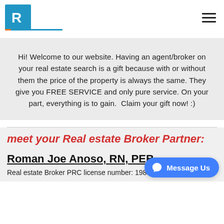R [logo] [hamburger menu]
Hi! Welcome to our website. Having an agent/broker on your real estate search is a gift because with or without them the price of the property is always the same. They give you FREE SERVICE and only pure service. On your part, everything is to gain.  Claim your gift now! :)
meet your Real estate Broker Partner:
Roman Joe Anoso, RN, PEB
Real estate Broker PRC license number: 19887